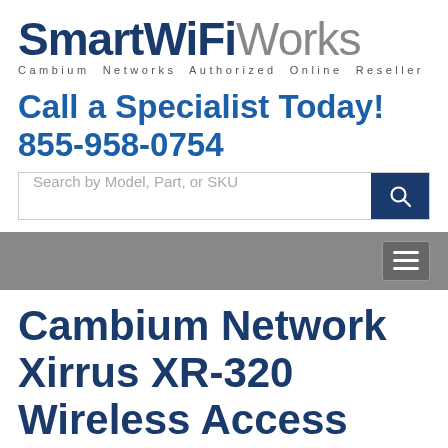SmartWiFiWorks – Cambium Networks Authorized Online Reseller
Call a Specialist Today! 855-958-0754
Search by Model, Part, or SKU
Cambium Network Xirrus XR-320 Wireless Access Points
Wall-mounted 802.11ac AP With Gigabit PoE Switch